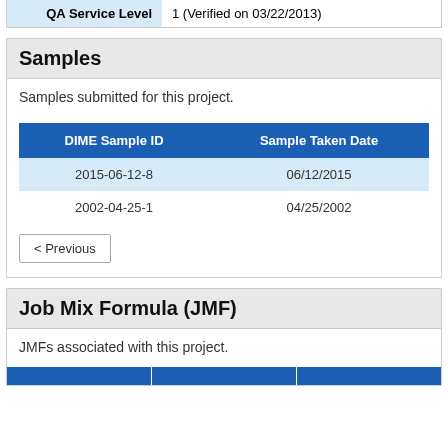| QA Service Level |  |
| --- | --- |
| QA Service Level | 1 (Verified on 03/22/2013) |
Samples
Samples submitted for this project.
| DIME Sample ID | Sample Taken Date |
| --- | --- |
| 2015-06-12-8 | 06/12/2015 |
| 2002-04-25-1 | 04/25/2002 |
< Previous
Job Mix Formula (JMF)
JMFs associated with this project.